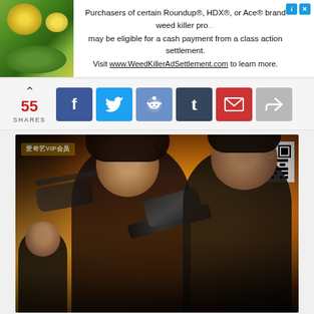[Figure (screenshot): Advertisement banner for Roundup/HDX/Ace brand weed killer class action settlement. Shows plant imagery on left and text: 'Purchasers of certain Roundup®, HDX®, or Ace® brand weed killer products may be eligible for a cash payment from a class action settlement. Visit www.WeedKillerAdSettlement.com to learn more.' with close and info buttons top right.]
[Figure (screenshot): Social share bar showing upward arrow, '55' in red, 'SHARES' label, and six share buttons: Facebook (blue f), Twitter (blue bird), Reddit (blue alien), Tumblr (dark t), Email (red envelope), Share (grey arrow).]
[Figure (photo): Chinese action movie poster showing a woman in black holding a rifle, a man in tactical gear on the right, a man in suit on the lower left, helicopters/explosions in the background, iQiyi VIP badge top-left, QR code top-right, orange and golden explosion backdrop.]